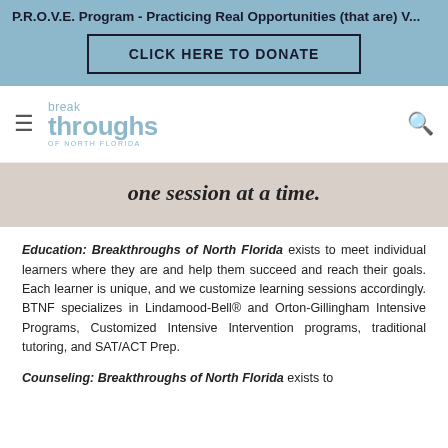P.R.O.V.E. Program - Practicing Real Opportunities (that are) V...
CLICK HERE TO DONATE
[Figure (logo): Breakthroughs of North Florida logo with hamburger menu and search icon]
one session at a time.
Education: Breakthroughs of North Florida exists to meet individual learners where they are and help them succeed and reach their goals. Each learner is unique, and we customize learning sessions accordingly. BTNF specializes in Lindamood-Bell® and Orton-Gillingham Intensive Programs, Customized Intensive Intervention programs, traditional tutoring, and SAT/ACT Prep.
Counseling: Breakthroughs of North Florida exists to